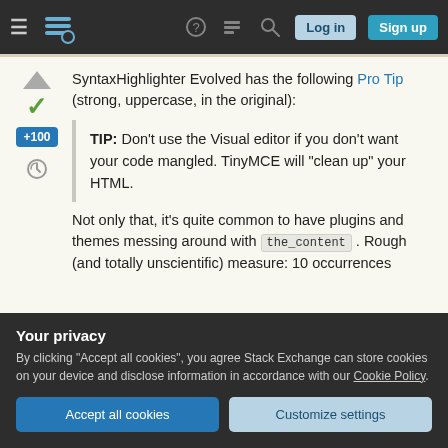Stack Exchange navigation bar with hamburger menu, logo, help, chat, search, Log in, Sign up
SyntaxHighlighter Evolved has the following Pro Tip (strong, uppercase, in the original):
TIP: Don't use the Visual editor if you don't want your code mangled. TinyMCE will "clean up" your HTML.
Not only that, it's quite common to have plugins and themes messing around with the_content . Rough (and totally unscientific) measure: 10 occurrences
Your privacy
By clicking "Accept all cookies", you agree Stack Exchange can store cookies on your device and disclose information in accordance with our Cookie Policy.
Accept all cookies | Customize settings